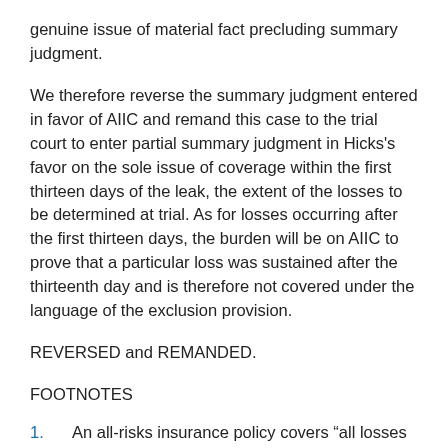genuine issue of material fact precluding summary judgment.
We therefore reverse the summary judgment entered in favor of AIIC and remand this case to the trial court to enter partial summary judgment in Hicks's favor on the sole issue of coverage within the first thirteen days of the leak, the extent of the losses to be determined at trial. As for losses occurring after the first thirteen days, the burden will be on AIIC to prove that a particular loss was sustained after the thirteenth day and is therefore not covered under the language of the exclusion provision.
REVERSED and REMANDED.
FOOTNOTES
1.    An all-risks insurance policy covers “all losses not resulting from misconduct or fraud unless the policy